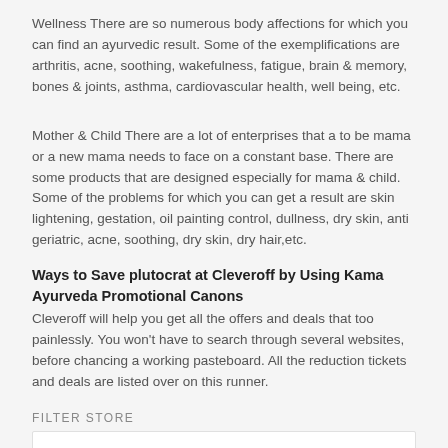Wellness There are so numerous body affections for which you can find an ayurvedic result. Some of the exemplifications are arthritis, acne, soothing, wakefulness, fatigue, brain & memory, bones & joints, asthma, cardiovascular health, well being, etc.
Mother & Child There are a lot of enterprises that a to be mama or a new mama needs to face on a constant base. There are some products that are designed especially for mama & child. Some of the problems for which you can get a result are skin lightening, gestation, oil painting control, dullness, dry skin, anti geriatric, acne, soothing, dry skin, dry hair,etc.
Ways to Save plutocrat at Cleveroff by Using Kama Ayurveda Promotional Canons
Cleveroff will help you get all the offers and deals that too painlessly. You won't have to search through several websites, before chancing a working pasteboard. All the reduction tickets and deals are listed over on this runner.
FILTER STORE
Categories